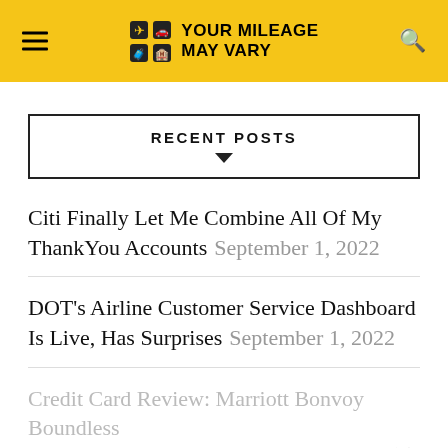YOUR MILEAGE MAY VARY
RECENT POSTS
Citi Finally Let Me Combine All Of My ThankYou Accounts September 1, 2022
DOT's Airline Customer Service Dashboard Is Live, Has Surprises September 1, 2022
Credit Card Review: Marriott Bonvoy Boundless (Mid-Level) September 1, 2022